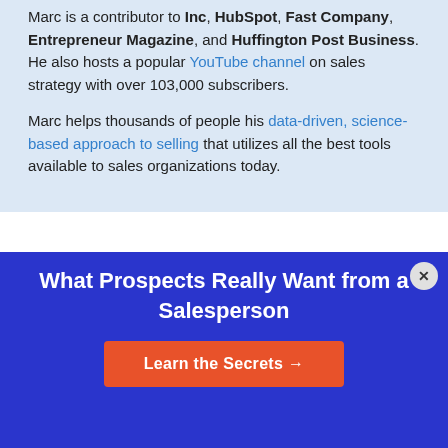Marc is a contributor to Inc, HubSpot, Fast Company, Entrepreneur Magazine, and Huffington Post Business. He also hosts a popular YouTube channel on sales strategy with over 103,000 subscribers.
Marc helps thousands of people his data-driven, science-based approach to selling that utilizes all the best tools available to sales organizations today.
What Prospects Really Want from a Salesperson
Learn the Secrets →